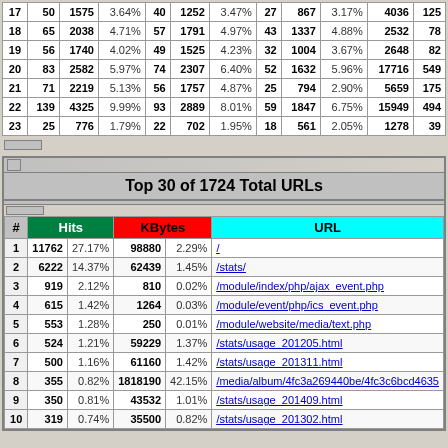| # | Hits | KBytes | % | Hits | KBytes | % | Hits | KBytes | % | Total | ... |
| --- | --- | --- | --- | --- | --- | --- | --- | --- | --- | --- | --- |
| 17 | 50 | 1575 | 3.64% | 40 | 1252 | 3.47% | 27 | 867 | 3.17% | 4036 | 125 |
| 18 | 65 | 2038 | 4.71% | 57 | 1791 | 4.97% | 43 | 1337 | 4.88% | 2532 | 78 |
| 19 | 56 | 1740 | 4.02% | 49 | 1525 | 4.23% | 32 | 1004 | 3.67% | 2648 | 82 |
| 20 | 83 | 2582 | 5.97% | 74 | 2307 | 6.40% | 52 | 1632 | 5.96% | 17716 | 549 |
| 21 | 71 | 2219 | 5.13% | 56 | 1757 | 4.87% | 25 | 794 | 2.90% | 5659 | 175 |
| 22 | 139 | 4325 | 9.99% | 93 | 2889 | 8.01% | 59 | 1847 | 6.75% | 15949 | 494 |
| 23 | 25 | 776 | 1.79% | 22 | 702 | 1.95% | 18 | 561 | 2.05% | 1278 | 39 |
Top 30 of 1724 Total URLs
| # | Hits |  | KBytes |  | URL |
| --- | --- | --- | --- | --- | --- |
| 1 | 11762 | 27.17% | 98880 | 2.29% | / |
| 2 | 6222 | 14.37% | 62439 | 1.45% | /stats/ |
| 3 | 919 | 2.12% | 810 | 0.02% | /module/index/php/ajax_event.php |
| 4 | 615 | 1.42% | 1264 | 0.03% | /module/event/php/ics_event.php |
| 5 | 553 | 1.28% | 250 | 0.01% | /module/website/media/text.php |
| 6 | 524 | 1.21% | 59229 | 1.37% | /stats/usage_201205.html |
| 7 | 500 | 1.16% | 61160 | 1.42% | /stats/usage_201311.html |
| 8 | 355 | 0.82% | 1818190 | 42.15% | /media/album/4fc3a269440be/4fc3c6bcd4635... |
| 9 | 350 | 0.81% | 43532 | 1.01% | /stats/usage_201409.html |
| 10 | 319 | 0.74% | 35500 | 0.82% | /stats/usage_201302.html |